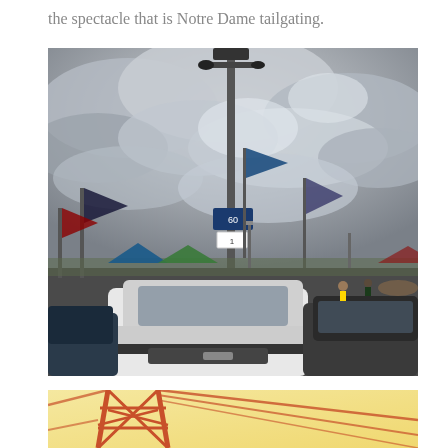the spectacle that is Notre Dame tailgating.
[Figure (photo): Crowded Notre Dame tailgating parking lot scene with cars, tents, flags, and a tall light pole under a dramatic cloudy sky.]
[Figure (photo): Partial view of an orange/red lattice tower or crane structure against a light yellowish sky, cropped at bottom of page.]